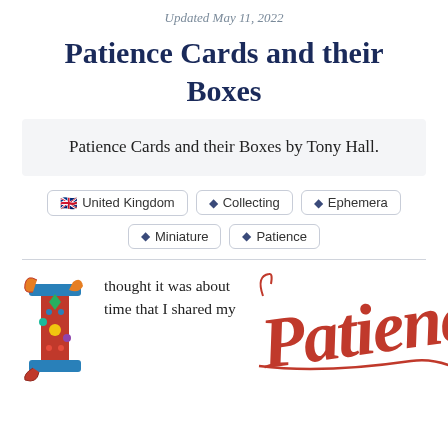Updated May 11, 2022
Patience Cards and their Boxes
Patience Cards and their Boxes by Tony Hall.
United Kingdom
Collecting
Ephemera
Miniature
Patience
I thought it was about time that I shared my
[Figure (illustration): Decorative illuminated letter I with colorful ornamental design]
[Figure (illustration): Cursive red script reading 'Patience']